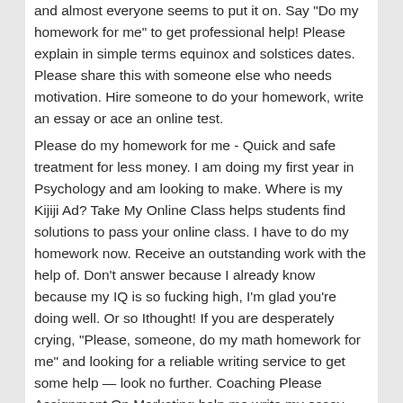and almost everyone seems to put it on. Say "Do my homework for me" to get professional help! Please explain in simple terms equinox and solstices dates. Please share this with someone else who needs motivation. Hire someone to do your homework, write an essay or ace an online test.
Please do my homework for me - Quick and safe treatment for less money. I am doing my first year in Psychology and am looking to make. Where is my Kijiji Ad? Take My Online Class helps students find solutions to pass your online class. I have to do my homework now. Receive an outstanding work with the help of. Don't answer because I already know because my IQ is so fucking high, I'm glad you're doing well. Or so Ithought! If you are desperately crying, “Please, someone, do my math homework for me” and looking for a reliable writing service to get some help — look no further. Coaching Please Assignment On Marketing help me write my essay Custom papers writing service. For a disclaimer about it my essay on the